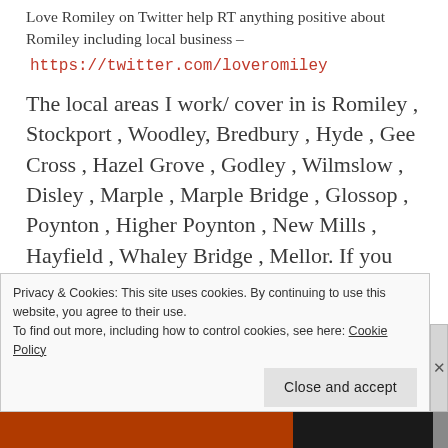Love Romiley on Twitter help RT anything positive about Romiley including local business –
https://twitter.com/loveromiley
The local areas I work/ cover in is Romiley , Stockport , Woodley, Bredbury , Hyde , Gee Cross , Hazel Grove , Godley , Wilmslow , Disley , Marple , Marple Bridge , Glossop , Poynton , Higher Poynton , New Mills , Hayfield , Whaley Bridge , Mellor. If you are not situated in one of these
Privacy & Cookies: This site uses cookies. By continuing to use this website, you agree to their use.
To find out more, including how to control cookies, see here: Cookie Policy
Close and accept